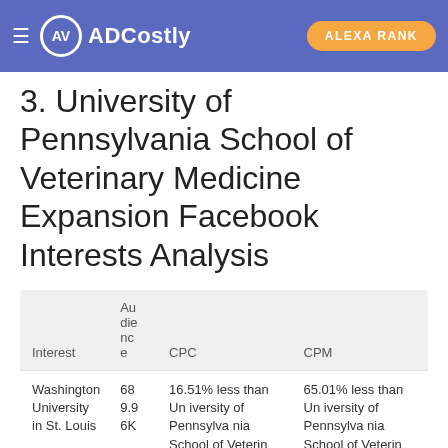ADCostly | ALEXA RANK
3. University of Pennsylvania School of Veterinary Medicine Expansion Facebook Interests Analysis
| Interest | Audience | CPC | CPM |
| --- | --- | --- | --- |
| Washington University in St. Louis | 689.9 6K | 16.51% less than University of Pennsylvania School of Veterinary Medicine | 65.01% less than University of Pennsylvania School of Veterin |